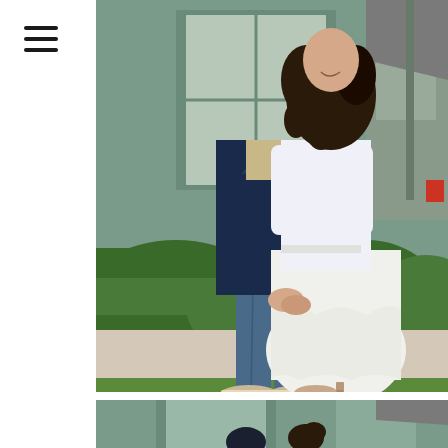[Figure (photo): Hamburger menu icon (three horizontal lines) in the top left corner on a white background]
[Figure (photo): Couple standing and holding hands outdoors in front of a sage green building with hedges. The man wears a navy blazer and jeans; the woman wears a white long-sleeve midi dress. Both are smiling. Shot from shoulders down in the main view.]
[Figure (photo): Partial second photo below, showing the tops of heads and a similar outdoor setting with sage green building.]